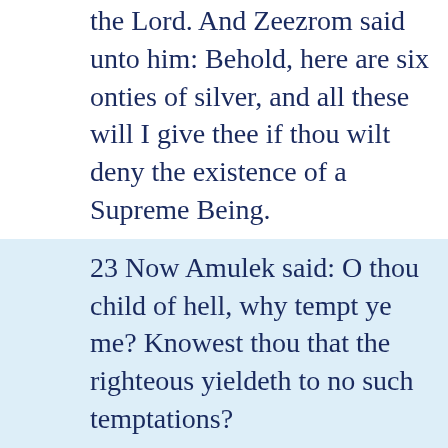the Lord. And Zeezrom said unto him: Behold, here are six onties of silver, and all these will I give thee if thou wilt deny the existence of a Supreme Being.
23 Now Amulek said: O thou child of hell, why tempt ye me? Knowest thou that the righteous yieldeth to no such temptations?
24 Believest thou that there is no God? I say unto you, Nay, thou knowest that there is a God, but thou lovest that lucre more than him.
25 And now thou hast